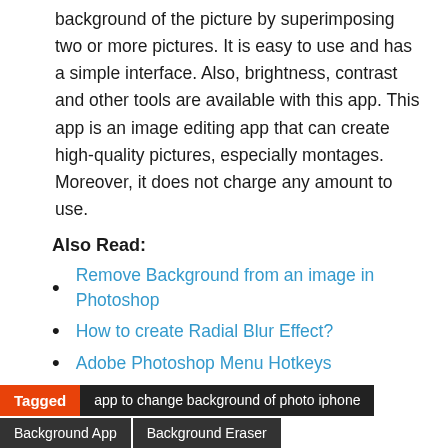background of the picture by superimposing two or more pictures. It is easy to use and has a simple interface. Also, brightness, contrast and other tools are available with this app. This app is an image editing app that can create high-quality pictures, especially montages. Moreover, it does not charge any amount to use.
Also Read:
Remove Background from an image in Photoshop
How to create Radial Blur Effect?
Adobe Photoshop Menu Hotkeys
Tagged  app to change background of photo iphone
Background App  Background Eraser